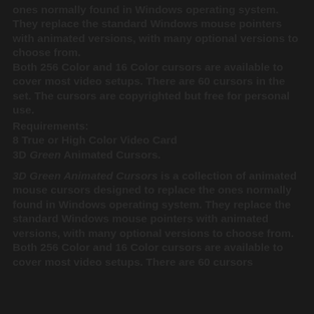ones normally found in Windows operating system. They replace the standard Windows mouse pointers with animated versions, with many optional versions to choose from. Both 256 Color and 16 Color cursors are available to cover most video setups. There are 60 cursors in the set. The cursors are copyrighted but free for personal use.
Requirements:
8 True or High Color Video Card
3D Green Animated Cursors.
3D Green Animated Cursors is a collection of animated mouse cursors designed to replace the ones normally found in Windows operating system. They replace the standard Windows mouse pointers with animated versions, with many optional versions to choose from. Both 256 Color and 16 Color cursors are available to cover most video setups. There are 60 cursors
to cover most video setups. There are 60 cursors